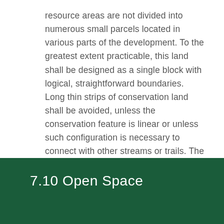resource areas are not divided into numerous small parcels located in various parts of the development. To the greatest extent practicable, this land shall be designed as a single block with logical, straightforward boundaries. Long thin strips of conservation land shall be avoided, unless the conservation feature is linear or unless such configuration is necessary to connect with other streams or trails. The open space shall generally abut existing or potential open space land on adjacent parcels, and shall be designed as part of larger contiguous and integrated greenway systems.
7.10 Open Space